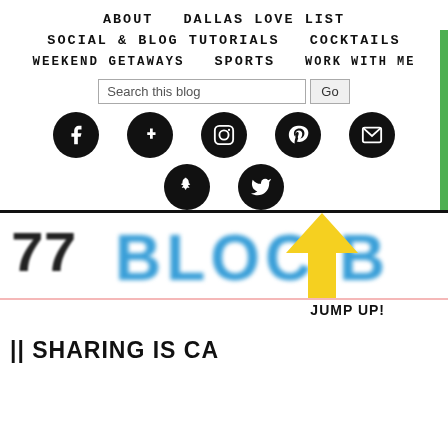ABOUT   DALLAS LOVE LIST
SOCIAL & BLOG TUTORIALS   COCKTAILS
WEEKEND GETAWAYS   SPORTS   WORK WITH ME
[Figure (screenshot): Blog navigation menu with social icons (Facebook, Google+, Instagram, Pinterest, Email, Snapchat, Twitter) and a search bar]
JUMP UP!
|| SHARING IS CA